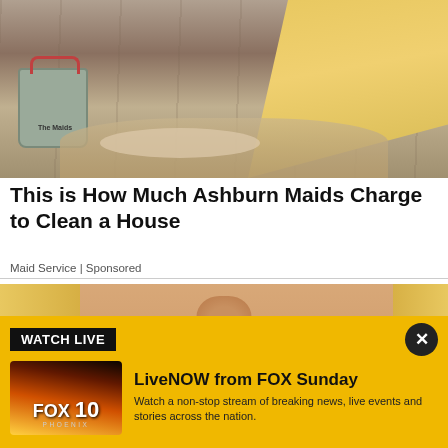[Figure (photo): A maid cleaning a hardwood floor with a bucket labeled 'The Maids' nearby]
This is How Much Ashburn Maids Charge to Clean a House
Maid Service | Sponsored
[Figure (photo): Close-up of a woman's face with blonde hair, pink lips, and a turquoise earring; a dark figure visible in bottom-left]
WATCH LIVE
LiveNOW from FOX Sunday
Watch a non-stop stream of breaking news, live events and stories across the nation.